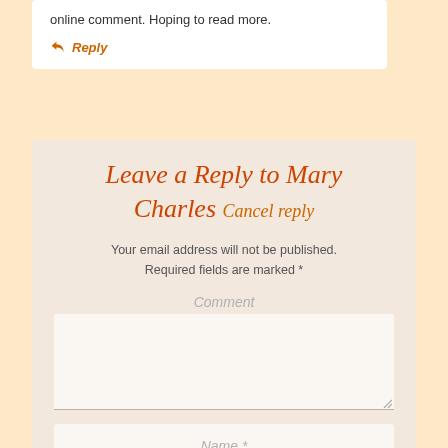online comment. Hoping to read more.
Reply
Leave a Reply to Mary Charles Cancel reply
Your email address will not be published. Required fields are marked *
Comment
Name *
Email *